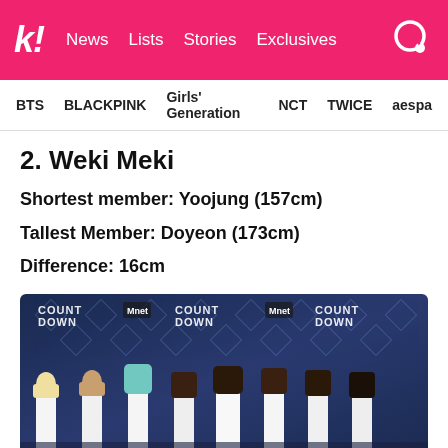k! News Lists Stories Exclusives
BTS BLACKPINK Girls' Generation NCT TWICE aespa
2. Weki Meki
Shortest member: Yoojung (157cm)
Tallest Member: Doyeon (173cm)
Difference: 16cm
[Figure (photo): Weki Meki group photo at M Countdown event, 8 members in white outfits standing in a row against the M Countdown backdrop]